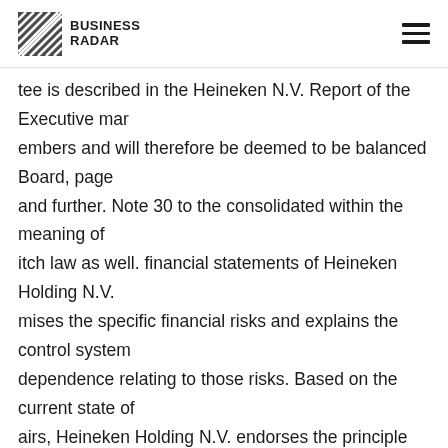BUSINESS RADAR
tee is described in the Heineken N.V. Report of the Executive mar embers and will therefore be deemed to be balanced Board, page and further. Note 30 to the consolidated within the meaning of itch law as well. financial statements of Heineken Holding N.V. mises the specific financial risks and explains the control system dependence relating to those risks. Based on the current state of airs, Heineken Holding N.V. endorses the principle that the it is itified that the financial reporting is prepared on a composition o e Board of Directors shall be such that its going concern basis and e Annual Report states those members are able to act critically ar dependently of one material risks and uncertainties that are evant to the another and of any particular interests. expectation e company's continuity for the period Given the structure of the EINEKEN Group, the company of twelve months after the eparation of the Annual Report. is of the opinion that, in the ntext of promoting the continuity, independence and stability of e HEINEKEN Internal audit function Group, thereby enabling